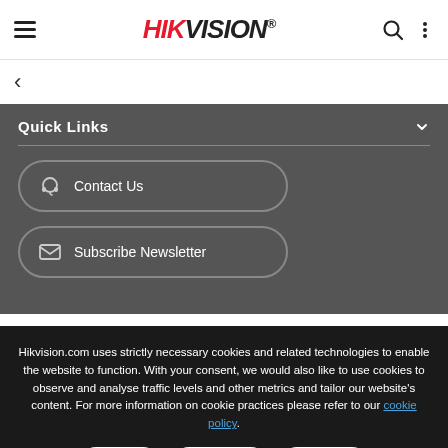HIKVISION
Quick Links
Contact Us
Subscribe Newsletter
Hikvision.com uses strictly necessary cookies and related technologies to enable the website to function. With your consent, we would also like to use cookies to observe and analyse traffic levels and other metrics and tailor our website’s content. For more information on cookie practices please refer to our cookie policy.
Accept
Reject All
Manage